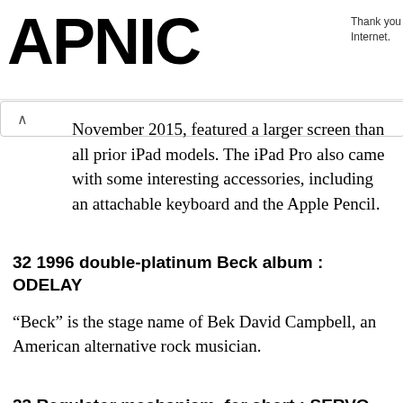APNIC — Thank you for helping us measure the Internet.
November 2015, featured a larger screen than all prior iPad models. The iPad Pro also came with some interesting accessories, including an attachable keyboard and the Apple Pencil.
32 1996 double-platinum Beck album : ODELAY
“Beck” is the stage name of Bek David Campbell, an American alternative rock musician.
33 Regulator mechanism, for short : SERVO
A servomechanism (also “servo”) is a control system in which usually a hydraulic or pneumatic arm or plunger is actuated by a low-energy signal received